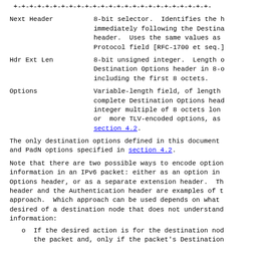+-+-+-+-+-+-+-+-+-+-+-+-+-+-+-+-+-+-+-+-+-+-+-+-+-
Next Header   8-bit selector.  Identifies the header immediately following the Destination header.  Uses the same values as the Protocol field [RFC-1700 et seq.]
Hdr Ext Len   8-bit unsigned integer.  Length of the Destination Options header in 8-octet units, not including the first 8 octets.
Options   Variable-length field, of length such that the complete Destination Options header is an integer multiple of 8 octets long.  Contains one or more TLV-encoded options, as described in section 4.2.
The only destination options defined in this document are the Pad1 and PadN options specified in section 4.2.
Note that there are two possible ways to encode optional destination information in an IPv6 packet: either as an option in the Destination Options header, or as a separate extension header.  The Routing header and the Authentication header are examples of the latter approach.  Which approach can be used depends on what action is desired of a destination node that does not understand the optional information:
o  If the desired action is for the destination node to skip over the packet and, only if the packet's Destination